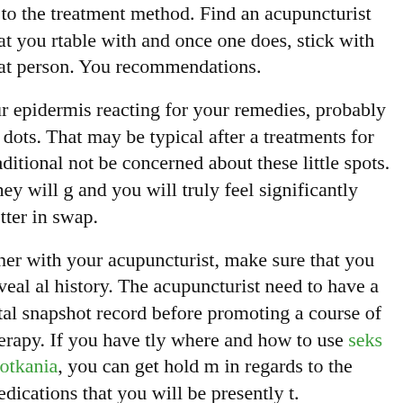al to the treatment method. Find an acupuncturist that you rtable with and once one does, stick with that person. You recommendations.
our epidermis reacting for your remedies, probably as dots. That may be typical after a treatments for traditional not be concerned about these little spots. They will g and you will truly feel significantly better in swap.
ether with your acupuncturist, make sure that you reveal al history. The acupuncturist need to have a total snapshot record before promoting a course of therapy. If you have tly where and how to use seks spotkania, you can get hold m in regards to the medications that you will be presently t.
ng a therapy. You do not have to stay away from workouts ur standard regimens. Should you usually manage, take a ght loads, move down some weight from normal. You only